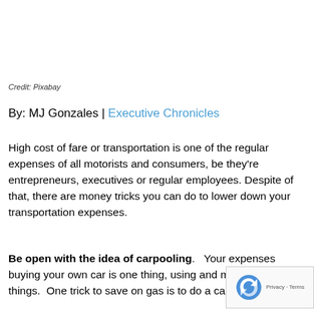Credit: Pixabay
By: MJ Gonzales | Executive Chronicles
High cost of fare or transportation is one of the regular expenses of all motorists and consumers, be they're entrepreneurs, executives or regular employees. Despite of that, there are money tricks you can do to lower down your transportation expenses.
Be open with the idea of carpooling. Your expenses buying your own car is one thing, using and maintaining other things. One trick to save on gas is to do a carpool going